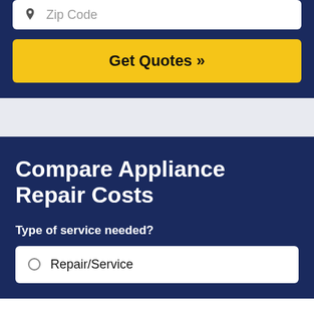[Figure (screenshot): Zip code input field with location pin icon and placeholder text 'Zip Code']
[Figure (screenshot): Yellow 'Get Quotes >>' call-to-action button]
Compare Appliance Repair Costs
Type of service needed?
[Figure (screenshot): Radio button option: Repair/Service]